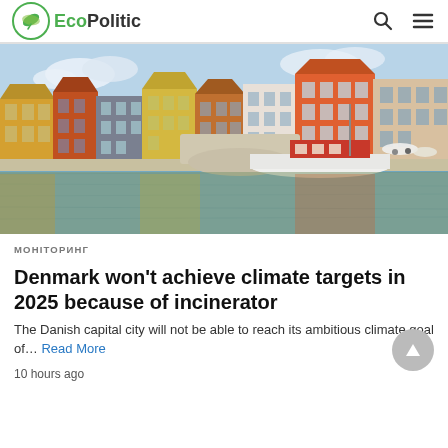EcoPolitic
[Figure (photo): Copenhagen Nyhavn canal with colorful buildings reflected in water, boats moored alongside]
МОНІТОРИНГ
Denmark won't achieve climate targets in 2025 because of incinerator
The Danish capital city will not be able to reach its ambitious climate goal of... Read More
10 hours ago